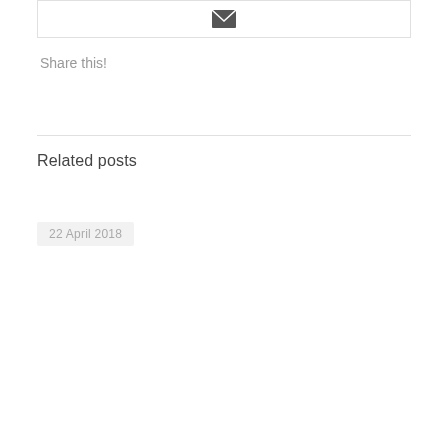[Figure (other): Email envelope icon inside a bordered box]
Share this!
Related posts
22 April 2018